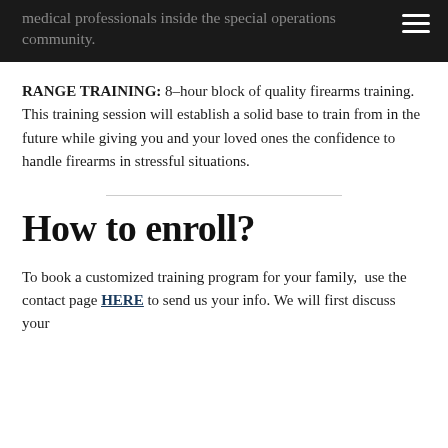medical professionals inside the special operations community.
RANGE TRAINING: 8-hour block of quality firearms training. This training session will establish a solid base to train from in the future while giving you and your loved ones the confidence to handle firearms in stressful situations.
How to enroll?
To book a customized training program for your family, use the contact page HERE to send us your info. We will first discuss your